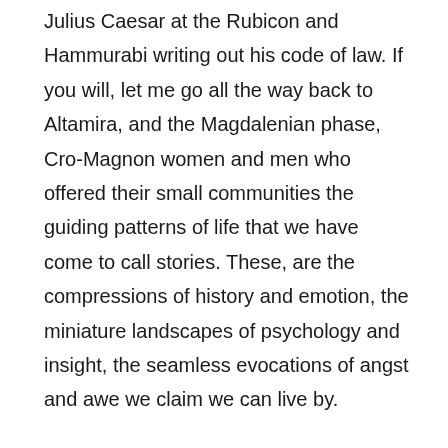Julius Caesar at the Rubicon and Hammurabi writing out his code of law. If you will, let me go all the way back to Altamira, and the Magdalenian phase, Cro-Magnon women and men who offered their small communities the guiding patterns of life that we have come to call stories. These, are the compressions of history and emotion, the miniature landscapes of psychology and insight, the seamless evocations of angst and awe we claim we can live by.
If we look back over the whole of history, at the horror of enduring war, from Alexander moving east out of Macedonia, up through Tamerlane to the so-